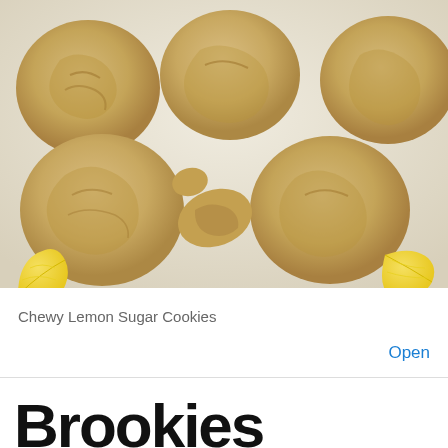[Figure (photo): Chewy lemon sugar cookies scattered on a white marble surface with lemon wedges]
Chewy Lemon Sugar Cookies
Open
Brookies
[Figure (photo): Brookies - brownie cookie hybrids with chocolate chips and flaky salt on top, dark chocolate brownie base]